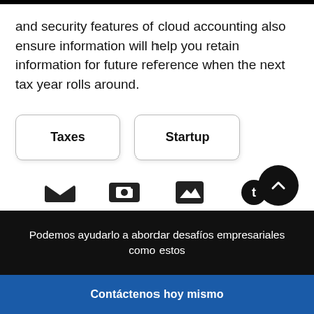and security features of cloud accounting also ensure information will help you retain information for future reference when the next tax year rolls around.
Taxes
Startup
Podemos ayudarlo a abordar desafíos empresariales como estos
Contáctenos hoy mismo